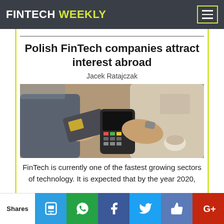FINTECH WEEKLY
Polish FinTech companies attract interest abroad
Jacek Ratajczak
[Figure (photo): Two people exchanging payment via card terminal at a cafe table — hands holding credit card and POS device]
FinTech is currently one of the fastest growing sectors of technology. It is expected that by the year 2020,